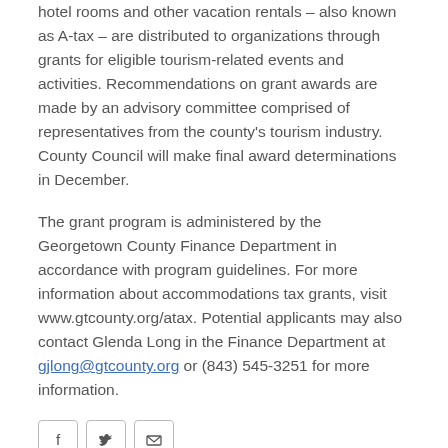hotel rooms and other vacation rentals – also known as A-tax – are distributed to organizations through grants for eligible tourism-related events and activities. Recommendations on grant awards are made by an advisory committee comprised of representatives from the county's tourism industry. County Council will make final award determinations in December.
The grant program is administered by the Georgetown County Finance Department in accordance with program guidelines. For more information about accommodations tax grants, visit www.gtcounty.org/atax. Potential applicants may also contact Glenda Long in the Finance Department at gjlong@gtcounty.org or (843) 545-3251 for more information.
[Figure (other): Social sharing icons: Facebook, Twitter, Email]
Previous | Midway to host 9/11   Next | Create an Account